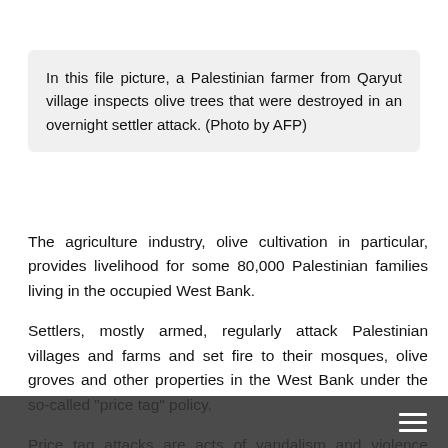In this file picture, a Palestinian farmer from Qaryut village inspects olive trees that were destroyed in an overnight settler attack. (Photo by AFP)
The agriculture industry, olive cultivation in particular, provides livelihood for some 80,000 Palestinian families living in the occupied West Bank.
Settlers, mostly armed, regularly attack Palestinian villages and farms and set fire to their mosques, olive groves and other properties in the West Bank under the so-called “price tag” policy.
Price tag attacks are acts of vandalism and violence against Palestinians and their property as well as Islamic holy sites by Israeli settlers.
Israel has reportedly uprooted more than 800,000 o...